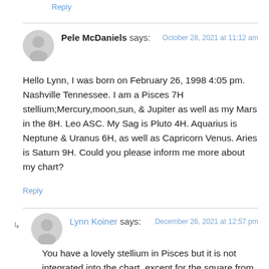Reply
Pele McDaniels says:
October 28, 2021 at 11:12 am
Hello Lynn, I was born on February 26, 1998 4:05 pm. Nashville Tennessee. I am a Pisces 7H stellium;Mercury,moon,sun, & Jupiter as well as my Mars in the 8H. Leo ASC. My Sag is Pluto 4H. Aquarius is Neptune & Uranus 6H, as well as Capricorn Venus. Aries is Saturn 9H. Could you please inform me more about my chart?
Reply
Lynn Koiner says:
December 26, 2021 at 12:57 pm
You have a lovely stellium in Pisces but it is not integrated into the chart, except for the square from Pluto — but there is a trine from Chiron Aqua. More on integration later on and...